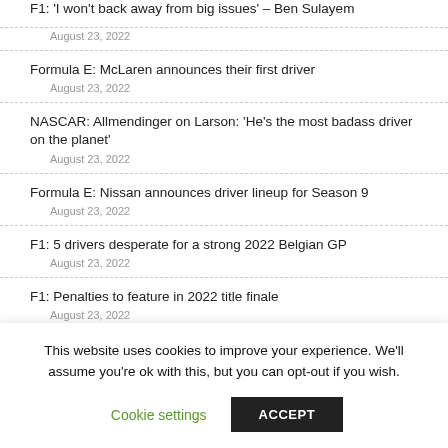Formula E: McLaren announces their first driver
August 23, 2022
NASCAR: Allmendinger on Larson: 'He’s the most badass driver on the planet'
August 23, 2022
Formula E: Nissan announces driver lineup for Season 9
August 23, 2022
F1: 5 drivers desperate for a strong 2022 Belgian GP
August 23, 2022
F1: Penalties to feature in 2022 title finale
August 23, 2022
F1: Latif wants to keep Williams seat
This website uses cookies to improve your experience. We’ll assume you’re ok with this, but you can opt-out if you wish.
Cookie settings
ACCEPT